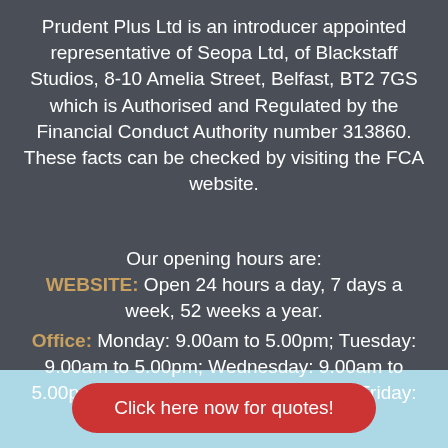Prudent Plus Ltd is an introducer appointed representative of Seopa Ltd, of Blackstaff Studios, 8-10 Amelia Street, Belfast, BT2 7GS which is Authorised and Regulated by the Financial Conduct Authority number 313860. These facts can be checked by visiting the FCA website.
Our opening hours are:
WEBSITE: Open 24 hours a day, 7 days a week, 52 weeks a year.
Office: Monday: 9.00am to 5.00pm; Tuesday: 9.00am to 5.00pm; Wednesday: 9.00am to 5.00pm; Thursday: 9.00am to 5.00pm; Friday: 9.00am to
Click here now for quotes!